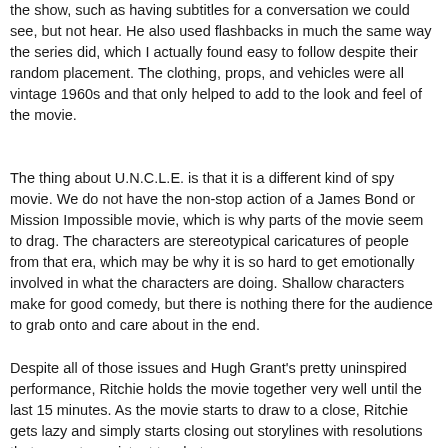the show, such as having subtitles for a conversation we could see, but not hear. He also used flashbacks in much the same way the series did, which I actually found easy to follow despite their random placement. The clothing, props, and vehicles were all vintage 1960s and that only helped to add to the look and feel of the movie.
The thing about U.N.C.L.E. is that it is a different kind of spy movie. We do not have the non-stop action of a James Bond or Mission Impossible movie, which is why parts of the movie seem to drag. The characters are stereotypical caricatures of people from that era, which may be why it is so hard to get emotionally involved in what the characters are doing. Shallow characters make for good comedy, but there is nothing there for the audience to grab onto and care about in the end.
Despite all of those issues and Hugh Grant's pretty uninspired performance, Ritchie holds the movie together very well until the last 15 minutes. As the movie starts to draw to a close, Ritchie gets lazy and simply starts closing out storylines with resolutions that are not consistent to what